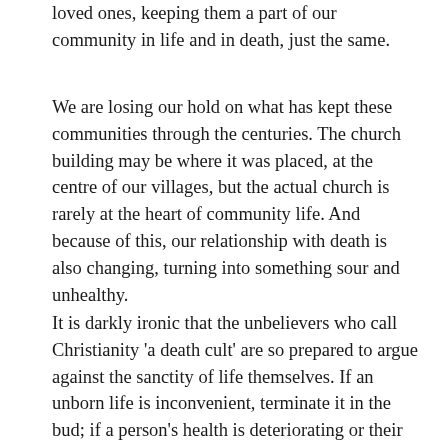loved ones, keeping them a part of our community in life and in death, just the same.
We are losing our hold on what has kept these communities through the centuries. The church building may be where it was placed, at the centre of our villages, but the actual church is rarely at the heart of community life. And because of this, our relationship with death is also changing, turning into something sour and unhealthy.
It is darkly ironic that the unbelievers who call Christianity 'a death cult' are so prepared to argue against the sanctity of life themselves. If an unborn life is inconvenient, terminate it in the bud; if a person's health is deteriorating or their quality of life poor, remove the burden now. Don't wait on God's providence, don't trust